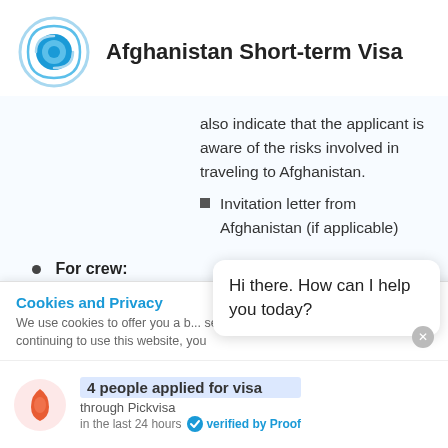Afghanistan Short-term Visa
also indicate that the applicant is aware of the risks involved in traveling to Afghanistan.
Invitation letter from Afghanistan (if applicable)
For crew:
Cookies and Privacy
We use cookies to offer you a b... serve targeted advertisements. By continuing to use this website, you
Hi there. How can I help you today?
4 people applied for visa through Pickvisa in the last 24 hours verified by Proof